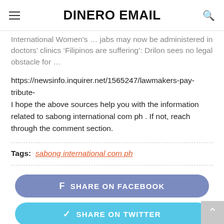DINERO EMAIL
International Women's … jabs may now be administered in doctors' clinics 'Filipinos are suffering': Drilon sees no legal obstacle for …
https://newsinfo.inquirer.net/1565247/lawmakers-pay-tribute- I hope the above sources help you with the information related to sabong international com ph . If not, reach through the comment section.
Tags:  sabong international com ph
SHARE ON FACEBOOK
SHARE ON TWITTER